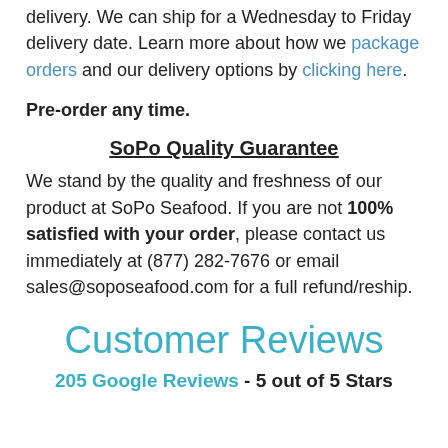delivery. We can ship for a Wednesday to Friday delivery date. Learn more about how we package orders and our delivery options by clicking here.
Pre-order any time.
SoPo Quality Guarantee
We stand by the quality and freshness of our product at SoPo Seafood. If you are not 100% satisfied with your order, please contact us immediately at (877) 282-7676 or email sales@soposeafood.com for a full refund/reship.
Customer Reviews
205 Google Reviews - 5 out of 5 Stars